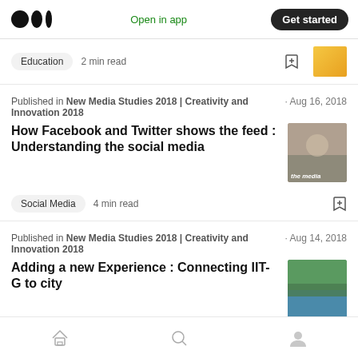Medium logo | Open in app | Get started
Education · 2 min read
Published in New Media Studies 2018 | Creativity and Innovation 2018 · Aug 16, 2018
How Facebook and Twitter shows the feed : Understanding the social media
Social Media · 4 min read
Published in New Media Studies 2018 | Creativity and Innovation 2018 · Aug 14, 2018
Adding a new Experience : Connecting IIT-G to city
Home | Search | Profile